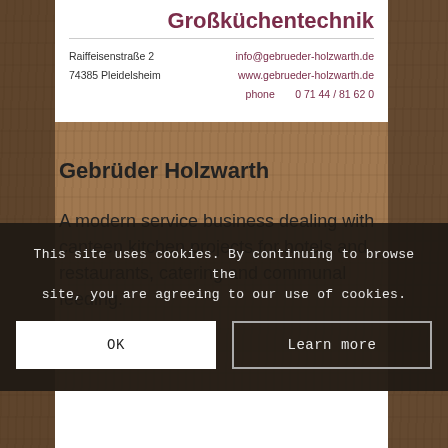Großküchentechnik
Raiffeisenstraße 2
74385 Pleidelsheim
info@gebrueder-holzwarth.de
www.gebrueder-holzwarth.de
phone   0 71 44 / 81 62 0
Gebrüder Holzwarth
A modern service business dealing with canteen kitchen projects for hotels and restaurants, catering and communal feeding.
This site uses cookies. By continuing to browse the site, you are agreeing to our use of cookies.
OK
Learn more